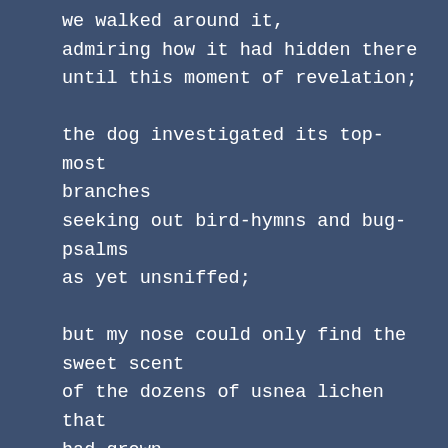we walked around it,
admiring how it had hidden there
until this moment of revelation;

the dog investigated its top-most
branches
seeking out bird-hymns and bug-
psalms
as yet unsniffed;

but my nose could only find the
sweet scent
of the dozens of usnea lichen that
had grown
soft and fragrant